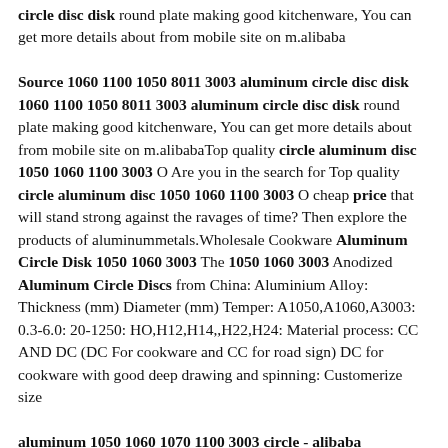circle disc disk round plate making good kitchenware, You can get more details about from mobile site on m.alibaba Source 1060 1100 1050 8011 3003 aluminum circle disc disk 1060 1100 1050 8011 3003 aluminum circle disc disk round plate making good kitchenware, You can get more details about from mobile site on m.alibabaTop quality circle aluminum disc 1050 1060 1100 3003 O Are you in the search for Top quality circle aluminum disc 1050 1060 1100 3003 O cheap price that will stand strong against the ravages of time? Then explore the products of aluminummetals.Wholesale Cookware Aluminum Circle Disk 1050 1060 3003 The 1050 1060 3003 Anodized Aluminum Circle Discs from China: Aluminium Alloy: Thickness (mm) Diameter (mm) Temper: A1050,A1060,A3003: 0.3-6.0: 20-1250: HO,H12,H14,,H22,H24: Material process: CC AND DC (DC For cookware and CC for road sign) DC for cookware with good deep drawing and spinning: Customerize size aluminum 1050 1060 1070 1100 3003 circle - alibaba